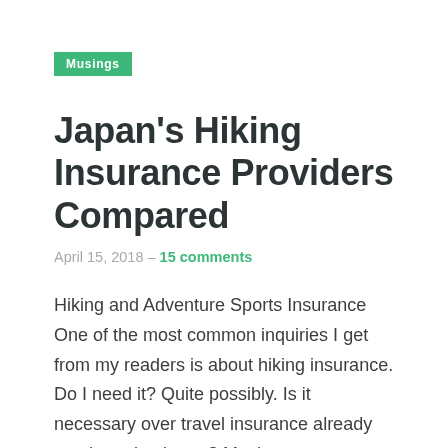Musings
Japan's Hiking Insurance Providers Compared
April 15, 2018 – 15 comments
Hiking and Adventure Sports Insurance One of the most common inquiries I get from my readers is about hiking insurance. Do I need it? Quite possibly. Is it necessary over travel insurance already purchased at home? Maybe as some travel insurance...